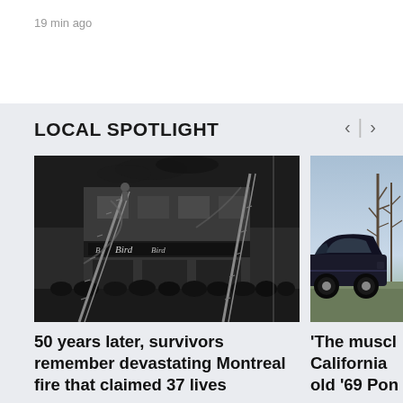19 min ago
LOCAL SPOTLIGHT
[Figure (photo): Black and white historical photo of firefighters battling a building fire, with ladders extended toward a two-story commercial building with signage reading 'Bird', crowds of people gathered in front]
50 years later, survivors remember devastating Montreal fire that claimed 37 lives
[Figure (photo): Color photo of a dark muscle car (1969 Pontiac) parked on grass with bare trees in the background in California]
'The muscl California old '69 Pon